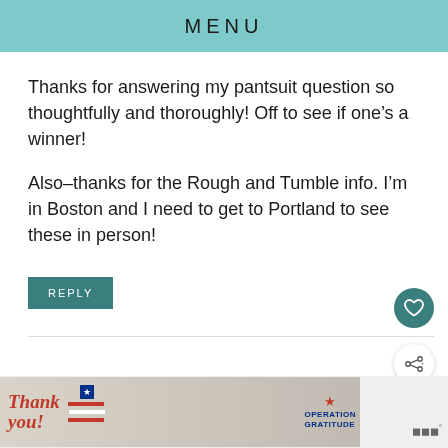MENU
Thanks for answering my pantsuit question so thoughtfully and thoroughly! Off to see if one’s a winner!
Also–thanks for the Rough and Tumble info. I’m in Boston and I need to get to Portland to see these in person!
REPLY
[Figure (screenshot): Advertisement banner for Operation Gratitude with Thank You text and military imagery]